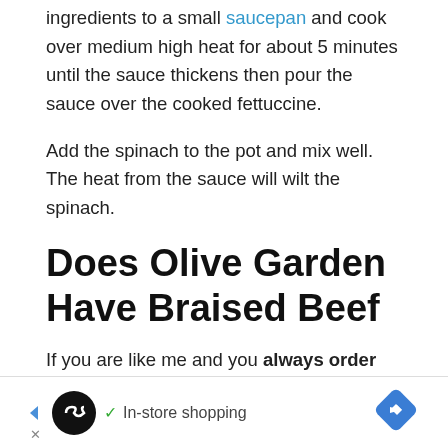ingredients to a small saucepan and cook over medium high heat for about 5 minutes until the sauce thickens then pour the sauce over the cooked fettuccine.
Add the spinach to the pot and mix well. The heat from the sauce will wilt the spinach.
Does Olive Garden Have Braised Beef
If you are like me and you always order the Braised Beef and Tortelloni every time you eat out at Olive Garden you are going to love todays recipe! Im going to say right up front that this Braised Beef and Tortelloni isnt a quick recipe, and
[Figure (other): Advertisement banner with a circular logo, checkmark, 'In-store shopping' text, and a blue diamond arrow icon on the right.]